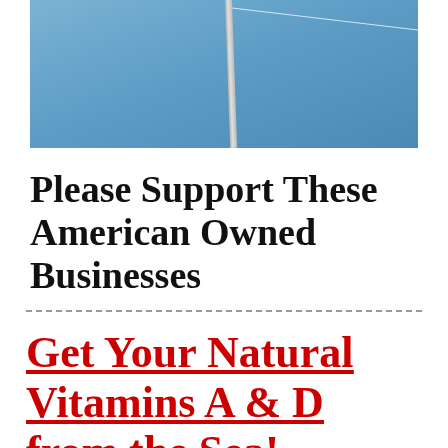[Figure (photo): Photo of a flagpole or mast against a blue sky, with a thin wire or line visible.]
Please Support These American Owned Businesses
Get Your Natural Vitamins A & D from the Sea!